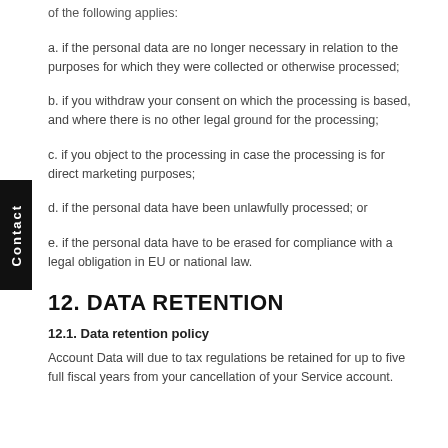of the following applies:
a. if the personal data are no longer necessary in relation to the purposes for which they were collected or otherwise processed;
b. if you withdraw your consent on which the processing is based, and where there is no other legal ground for the processing;
c. if you object to the processing in case the processing is for direct marketing purposes;
d. if the personal data have been unlawfully processed; or
e. if the personal data have to be erased for compliance with a legal obligation in EU or national law.
12. DATA RETENTION
12.1. Data retention policy
Account Data will due to tax regulations be retained for up to five full fiscal years from your cancellation of your Service account.